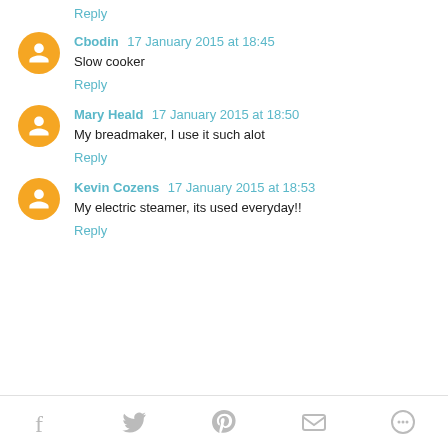Reply
Cbodin 17 January 2015 at 18:45
Slow cooker
Reply
Mary Heald 17 January 2015 at 18:50
My breadmaker, I use it such alot
Reply
Kevin Cozens 17 January 2015 at 18:53
My electric steamer, its used everyday!!
Reply
Social share icons: Facebook, Twitter, Pinterest, Email, More